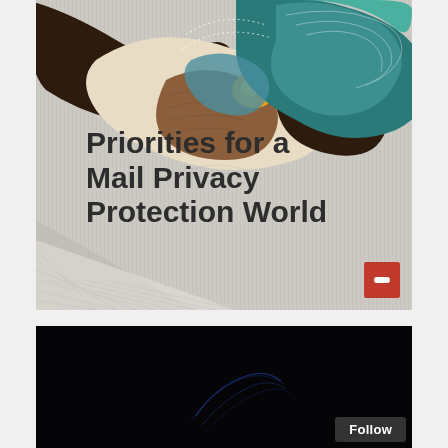[Figure (illustration): Cover image for a report titled 'Priorities for a Mail Privacy Protection World'. Features abstract waves of dark brown, teal, beige, and orange shapes on a gray background with decorative topographic line patterns. An Oracle logo red badge is in the bottom-right corner.]
Priorities for a Mail Privacy Protection World
[Figure (photo): Dark/black image with faint blue curved lines suggesting a hand or abstract shape in a dark environment.]